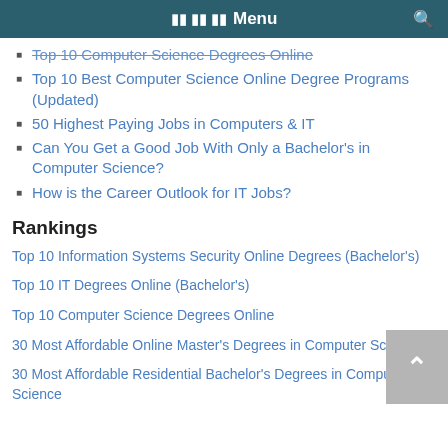Menu
Top 10 Computer Science Degrees Online
Top 10 Best Computer Science Online Degree Programs (Updated)
50 Highest Paying Jobs in Computers & IT
Can You Get a Good Job With Only a Bachelor's in Computer Science?
How is the Career Outlook for IT Jobs?
Rankings
Top 10 Information Systems Security Online Degrees (Bachelor's)
Top 10 IT Degrees Online (Bachelor's)
Top 10 Computer Science Degrees Online
30 Most Affordable Online Master's Degrees in Computer Science
30 Most Affordable Residential Bachelor's Degrees in Computer Science